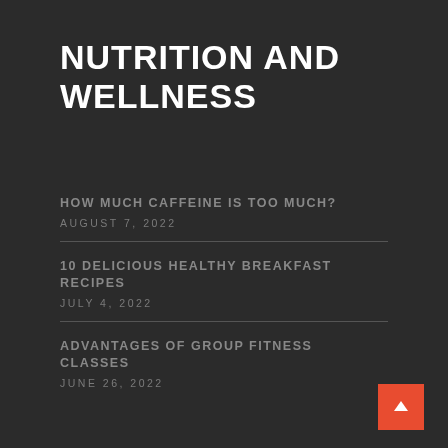NUTRITION AND WELLNESS
HOW MUCH CAFFEINE IS TOO MUCH?
AUGUST 7, 2022
10 DELICIOUS HEALTHY BREAKFAST RECIPES
JULY 4, 2022
ADVANTAGES OF GROUP FITNESS CLASSES
JUNE 26, 2022